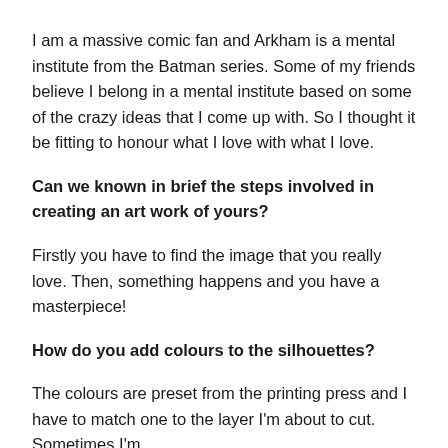I am a massive comic fan and Arkham is a mental institute from the Batman series. Some of my friends believe I belong in a mental institute based on some of the crazy ideas that I come up with. So I thought it be fitting to honour what I love with what I love.
Can we known in brief the steps involved in creating an art work of yours?
Firstly you have to find the image that you really love. Then, something happens and you have a masterpiece!
How do you add colours to the silhouettes?
The colours are preset from the printing press and I have to match one to the layer I'm about to cut. Sometimes I'm